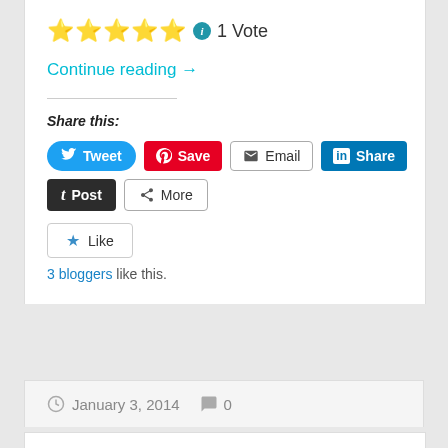★★★★★ ℹ 1 Vote
Continue reading →
Share this:
[Figure (screenshot): Social share buttons: Tweet, Save, Email, Share, Post, More]
Like
3 bloggers like this.
January 3, 2014   0